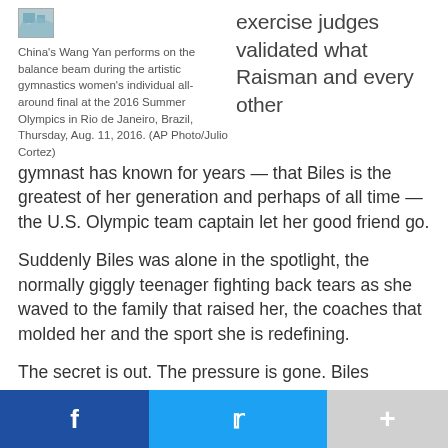[Figure (photo): Small thumbnail photo placeholder]
China's Wang Yan performs on the balance beam during the artistic gymnastics women's individual all-around final at the 2016 Summer Olympics in Rio de Janeiro, Brazil, Thursday, Aug. 11, 2016. (AP Photo/Julio Cortez)
exercise judges validated what Raisman and every other gymnast has known for years — that Biles is the greatest of her generation and perhaps of all time — the U.S. Olympic team captain let her good friend go.
Suddenly Biles was alone in the spotlight, the normally giggly teenager fighting back tears as she waved to the family that raised her, the coaches that molded her and the sport she is redefining.
The secret is out. The pressure is gone. Biles belongs to the world now.